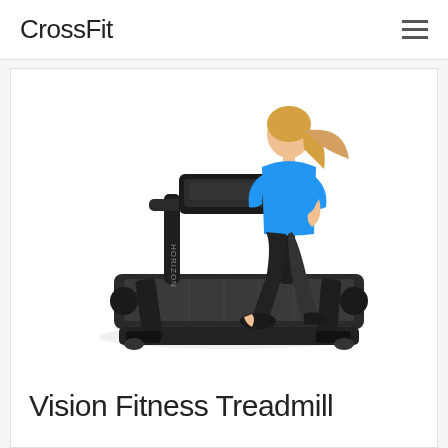CrossFit
[Figure (photo): A woman in a blue tank top and black leggings running on a black Horizon brand treadmill against a white background.]
Vision Fitness Treadmill